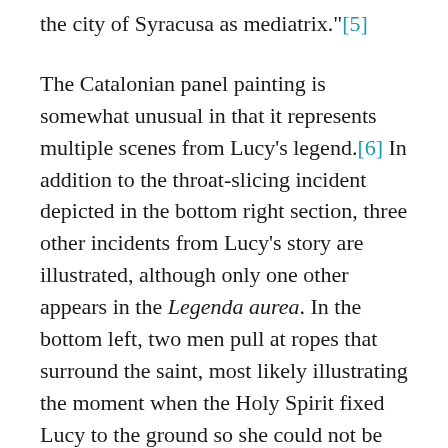the city of Syracusa as mediatrix."[5]
The Catalonian panel painting is somewhat unusual in that it represents multiple scenes from Lucy's legend.[6] In addition to the throat-slicing incident depicted in the bottom right section, three other incidents from Lucy's story are illustrated, although only one other appears in the Legenda aurea. In the bottom left, two men pull at ropes that surround the saint, most likely illustrating the moment when the Holy Spirit fixed Lucy to the ground so she could not be hauled off to the brothel. In the top right, Lucy is tied to a pole as her breasts are cut off by the two men who flank her. This is a torture that is particularly associated with Saint Agatha, and one that is sometimes depicted for other virgin